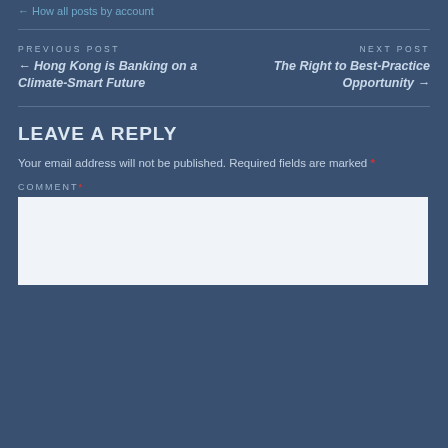← How all posts by account
PREVIOUS POST
← Hong Kong is Banking on a Climate-Smart Future
NEXT POST
The Right to Best-Practice Opportunity →
LEAVE A REPLY
Your email address will not be published. Required fields are marked *
COMMENT *